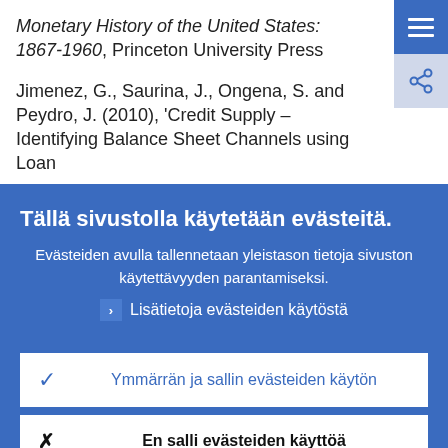Monetary History of the United States: 1867-1960, Princeton University Press
Jimenez, G., Saurina, J., Ongena, S. and Peydro, J. (2010), 'Credit Supply – Identifying Balance Sheet Channels using Loan
Tällä sivustolla käytetään evästeitä.
Evästeiden avulla tallennetaan yleistason tietoja sivuston käytettävyyden parantamiseksi.
Lisätietoja evästeiden käytöstä
Ymmärrän ja sallin evästeiden käytön
En salli evästeiden käyttöä